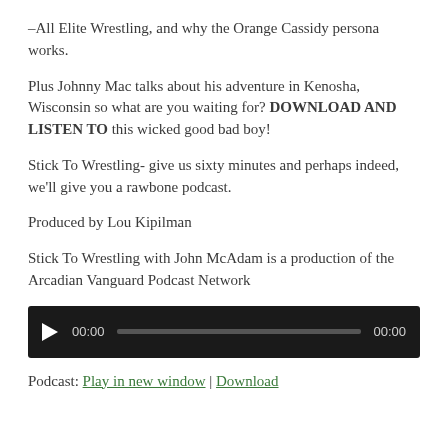–All Elite Wrestling, and why the Orange Cassidy persona works.
Plus Johnny Mac talks about his adventure in Kenosha, Wisconsin so what are you waiting for? DOWNLOAD AND LISTEN TO this wicked good bad boy!
Stick To Wrestling- give us sixty minutes and perhaps indeed, we'll give you a rawbone podcast.
Produced by Lou Kipilman
Stick To Wrestling with John McAdam is a production of the Arcadian Vanguard Podcast Network
[Figure (other): Audio player widget with play button, 00:00 time display, progress bar, and 00:00 end time on dark background]
Podcast: Play in new window | Download